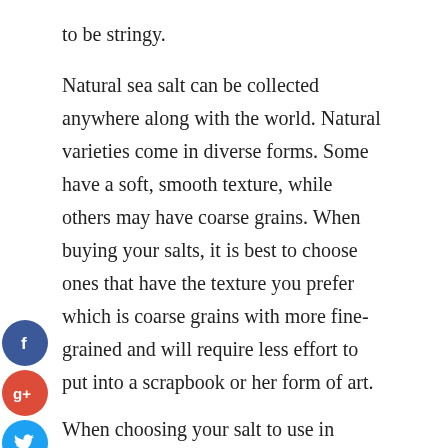to be stringy.
Natural sea salt can be collected anywhere along with the world. Natural varieties come in diverse forms. Some have a soft, smooth texture, while others may have coarse grains. When buying your salts, it is best to choose ones that have the texture you prefer which is coarse grains with more fine-grained and will require less effort to put into a scrapbook or her form of art.
When choosing your salt to use in recipes, the best sea salt formation will inform you that natural varieties have different types of minerals in them. Some of these minerals add different flavors to food, while some help retains the original flavor. For example, potassium chloride is a necessary component in pickling. So is magnesium chloride